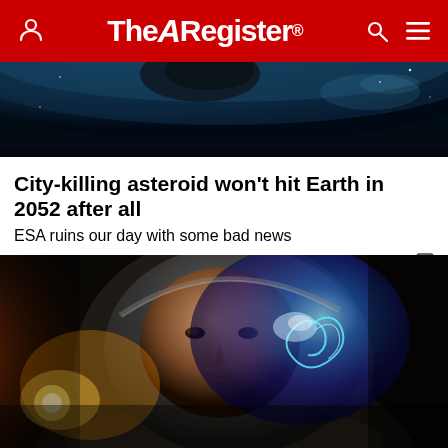The Register
[Figure (photo): Space/asteroid scene with dark background and Earth or planet surface from orbit]
City-killing asteroid won't hit Earth in 2052 after all
ESA ruins our day with some bad news
SCIENCE    2 months | 29 comments
[Figure (photo): Close-up of astronaut helmet visor reflecting blue swirling light, warm orange glow on left side]